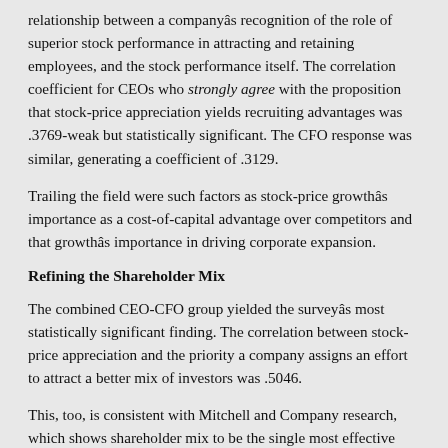relationship between a companyâs recognition of the role of superior stock performance in attracting and retaining employees, and the stock performance itself. The correlation coefficient for CEOs who strongly agree with the proposition that stock-price appreciation yields recruiting advantages was .3769-weak but statistically significant. The CFO response was similar, generating a coefficient of .3129.
Trailing the field were such factors as stock-price growthâs importance as a cost-of-capital advantage over competitors and that growthâs importance in driving corporate expansion.
Refining the Shareholder Mix
The combined CEO-CFO group yielded the surveyâs most statistically significant finding. The correlation between stock-price appreciation and the priority a company assigns an effort to attract a better mix of investors was .5046.
This, too, is consistent with Mitchell and Company research, which shows shareholder mix to be the single most effective method of expending stock-price